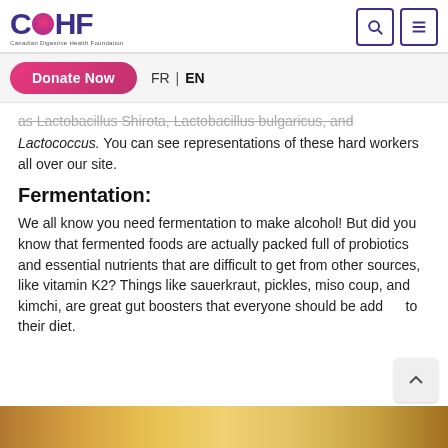CDHF — Canadian Digestive Health Foundation
as Lactobacillus Shirota, Lactobacillus bulgaricus, and Lactococcus. You can see representations of these hard workers all over our site.
Fermentation:
We all know you need fermentation to make alcohol! But did you know that fermented foods are actually packed full of probiotics and essential nutrients that are difficult to get from other sources, like vitamin K2? Things like sauerkraut, pickles, miso coup, and kimchi, are great gut boosters that everyone should be adding to their diet.
[Figure (photo): Bottom image strip showing fermented foods]